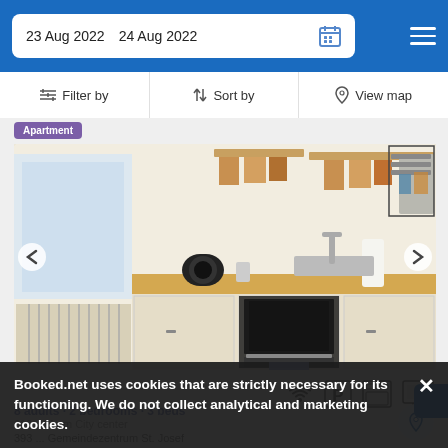23 Aug 2022  24 Aug 2022
Filter by  Sort by  View map
[Figure (screenshot): Apartment badge label in purple]
[Figure (photo): Kitchen interior photo showing white cabinets with wooden countertop, oven, sink, and kitchen accessories]
8 adults · 2 bedrooms · 3 beds
610 yd from City center
393 ... Gemeindezentrum St. Josef
Booked.net uses cookies that are strictly necessary for its functioning. We do not collect analytical and marketing cookies.